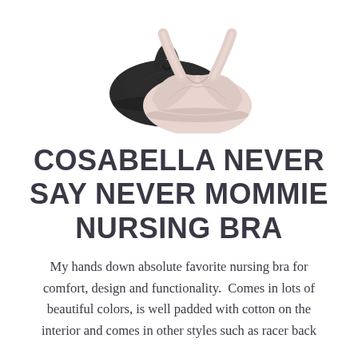[Figure (photo): Two nursing bras overlapping — one black racer-back style and one light pink/blush v-neck style, photographed on a white background.]
COSABELLA NEVER SAY NEVER MOMMIE NURSING BRA
My hands down absolute favorite nursing bra for comfort, design and functionality.  Comes in lots of beautiful colors, is well padded with cotton on the interior and comes in other styles such as racer back